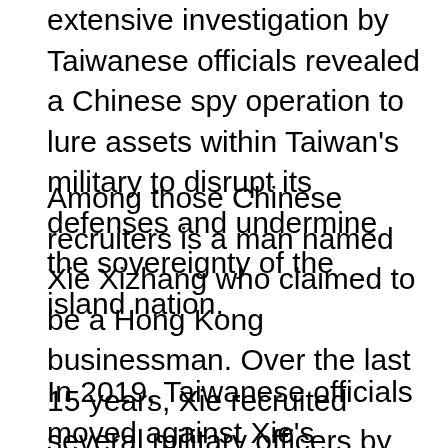extensive investigation by Taiwanese officials revealed a Chinese spy operation to lure assets within Taiwan's military to disrupt its defenses and undermine the sovereignty of the island nation.
Among those Chinese recruiters is a man named Xie Xizhang who claimed to be a Hong Kong businessman. Over the last 15 years, Xie recruited several military officers by luring them with gifts, cash, and foreign trips.
In 2019, Taiwanese officials moved against Xie's network of spies, raiding multiple locations and making arrests. Xie himself was not